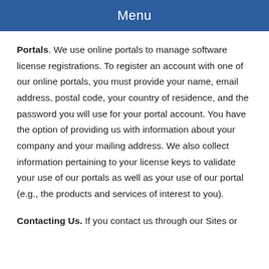Menu
Portals. We use online portals to manage software license registrations. To register an account with one of our online portals, you must provide your name, email address, postal code, your country of residence, and the password you will use for your portal account. You have the option of providing us with information about your company and your mailing address. We also collect information pertaining to your license keys to validate your use of our portals as well as your use of our portal (e.g., the products and services of interest to you).
Contacting Us. If you contact us through our Sites or